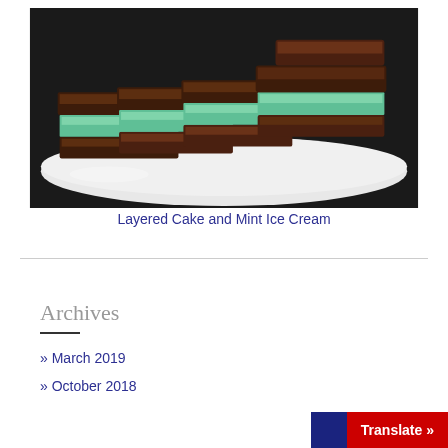[Figure (photo): Chocolate layered cake slices with mint green ice cream filling, stacked on a white plate against a dark background]
Layered Cake and Mint Ice Cream
Archives
March 2019
October 2018